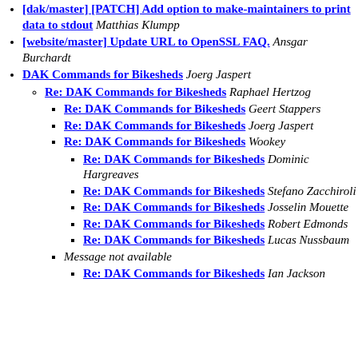[dak/master] [PATCH] Add option to make-maintainers to print data to stdout Matthias Klumpp
[website/master] Update URL to OpenSSL FAQ. Ansgar Burchardt
DAK Commands for Bikesheds Joerg Jaspert
Re: DAK Commands for Bikesheds Raphael Hertzog
Re: DAK Commands for Bikesheds Geert Stappers
Re: DAK Commands for Bikesheds Joerg Jaspert
Re: DAK Commands for Bikesheds Wookey
Re: DAK Commands for Bikesheds Dominic Hargreaves
Re: DAK Commands for Bikesheds Stefano Zacchiroli
Re: DAK Commands for Bikesheds Josselin Mouette
Re: DAK Commands for Bikesheds Robert Edmonds
Re: DAK Commands for Bikesheds Lucas Nussbaum
Message not available
Re: DAK Commands for Bikesheds Ian Jackson